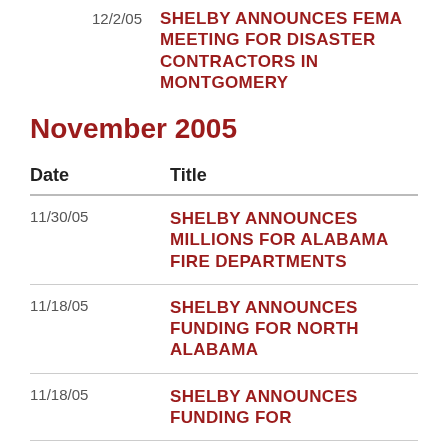12/2/05 — SHELBY ANNOUNCES FEMA MEETING FOR DISASTER CONTRACTORS IN MONTGOMERY
November 2005
| Date | Title |
| --- | --- |
| 11/30/05 | SHELBY ANNOUNCES MILLIONS FOR ALABAMA FIRE DEPARTMENTS |
| 11/18/05 | SHELBY ANNOUNCES FUNDING FOR NORTH ALABAMA |
| 11/18/05 | SHELBY ANNOUNCES FUNDING FOR ... |